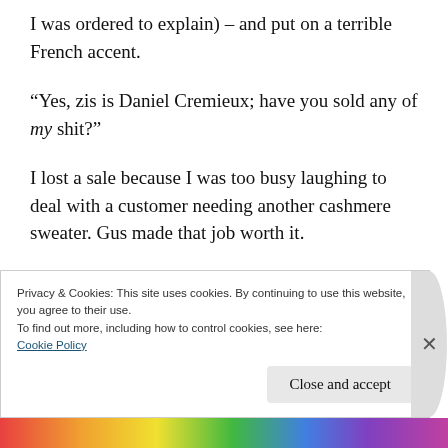I was ordered to explain) – and put on a terrible French accent.
“Yes, zis is Daniel Cremieux; have you sold any of my shit?”
I lost a sale because I was too busy laughing to deal with a customer needing another cashmere sweater. Gus made that job worth it.
We worked on opposite sides of the store, but
Privacy & Cookies: This site uses cookies. By continuing to use this website, you agree to their use.
To find out more, including how to control cookies, see here:
Cookie Policy
Close and accept